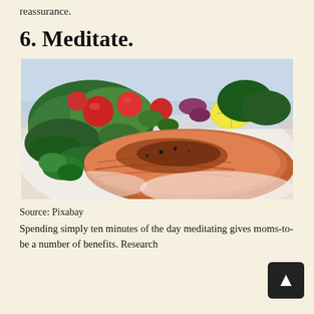reassurance.
6. Meditate.
[Figure (photo): A plated grilled salmon fillet with a colorful salad including tomatoes, spinach, cucumber, red onion, and a lemon wedge on a white plate, close-up food photography.]
Source: Pixabay
Spending simply ten minutes of the day meditating gives moms-to-be a number of benefits. Research